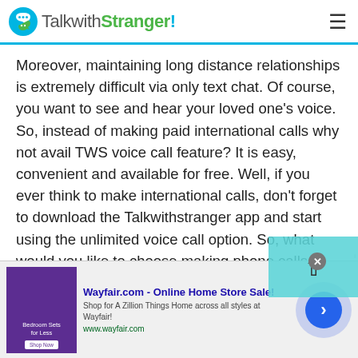TalkwithStranger!
Moreover, maintaining long distance relationships is extremely difficult via only text chat. Of course, you want to see and hear your loved one's voice. So, instead of making paid international calls why not avail TWS voice call feature? It is easy, convenient and available for free. Well, if you ever think to make international calls, don't forget to download the Talkwithstranger app and start using the unlimited voice call option. So, what would you like to choose making phone calls or the TWS voice calling option? Whatever your choice, make sure to choose the option that you find easy and convenient.
[Figure (screenshot): Wayfair.com advertisement banner with purple bedroom image, ad title 'Wayfair.com - Online Home Store Sale!', subtitle 'Shop for A Zillion Things Home across all styles at Wayfair!', URL www.wayfair.com, and a blue circular next arrow button]